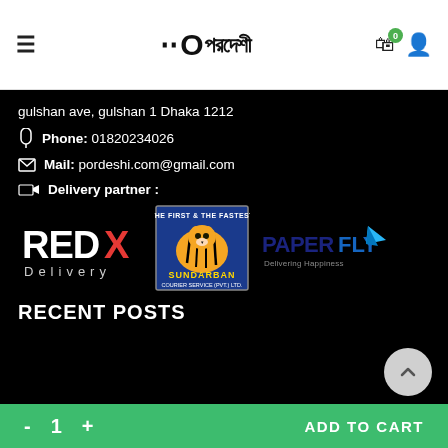≡  Ö পরদেশী  🛒0  👤
gulshan ave, gulshan 1 Dhaka 1212
📱 Phone: 01820234026
✉ Mail: pordeshi.com@gmail.com
🚚 Delivery partner :
[Figure (logo): REDX Delivery logo — red and white text on black background]
[Figure (logo): Sundarban Courier Service logo — tiger on blue background with text THE FIRST & THE FASTEST]
[Figure (logo): Paperfly logo — blue text PAPERFLY with paper plane icon, tagline Delivering Happiness]
RECENT POSTS
- 1 +   ADD TO CART